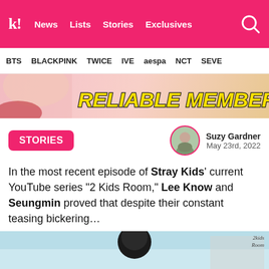k! News Lists Stories Exclusives
BTS BLACKPINK TWICE IVE aespa NCT SEVE
[Figure (photo): Hero banner image with yellow text reading 'RELIABLE MEMBER...' in bold italic comic-style font with dark stroke, on a pink/warm background with partial person visible]
STORIES
Suzy Gardner
May 23rd, 2022
In the most recent episode of Stray Kids' current YouTube series “2 Kids Room,” Lee Know and Seungmin proved that despite their constant teasing bickering…
[Figure (photo): Photo of a person with dark hair seen from behind, against a light blue/teal background. A watermark reading '2kids Room' is visible in the top right corner.]